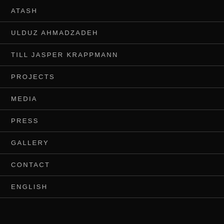ATASH
ULDUZ AHMADZADEH
TILL JASPER KRAPPMANN
PROJECTS
MEDIA
PRESS
GALLERY
CONTACT
ENGLISH